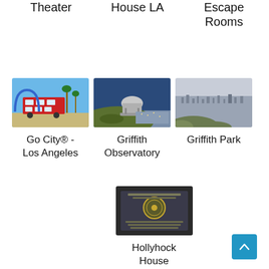Theater
House LA
Escape Rooms
[Figure (photo): Red double-decker bus under palm trees with blue arch, Go City Los Angeles tour]
Go City® - Los Angeles
[Figure (photo): Griffith Observatory on hillside overlooking Los Angeles cityscape]
Griffith Observatory
[Figure (photo): Aerial view of Los Angeles city sprawl from Griffith Park]
Griffith Park
[Figure (photo): Dark stone plaque with circular emblem, Hollyhock House national monument marker]
Hollyhock House